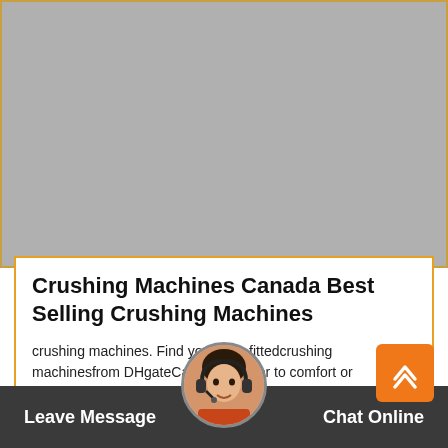[Figure (photo): Gray placeholder image area for product photo of crushing machines]
Crushing Machines Canada Best Selling Crushing Machines
crushing machines. Find your best fittedcrushing machinesfrom DHgateCan... whether to comfort or decoration, we provide a range of styles to assist you in making